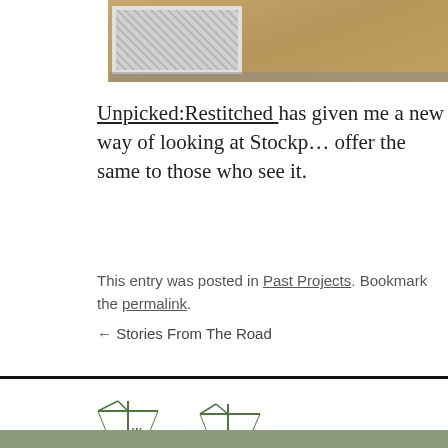[Figure (photo): Photo of what appears to be a floor vent or grate on a wooden floor, partially cropped at top of page]
Unpicked:Restitched has given me a new way of looking at Stockp… offer the same to those who see it.
This entry was posted in Past Projects. Bookmark the permalink.
← Stories From The Road
[Figure (logo): UrbanWords logo featuring a city skyline silhouette with crane structures and the text URBANWORDS in spaced capital letters below]